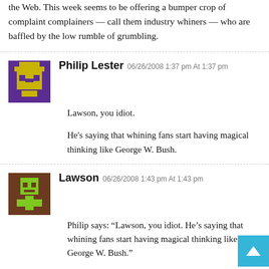the Web. This week seems to be offering a bumper crop of complaint complainers — call them industry whiners — who are baffled by the low rumble of grumbling.
Philip Lester 06/26/2008 1:37 pm At 1:37 pm
Lawson, you idiot.

He's saying that whining fans start having magical thinking like George W. Bush.
Lawson 06/26/2008 1:43 pm At 1:43 pm
Philip says: “Lawson, you idiot. He’s saying that whining fans start having magical thinking like George W. Bush.”

Ah! OK.

And what magical powers do industry whiners have?

Because if we fans are being silly by predicting the f…